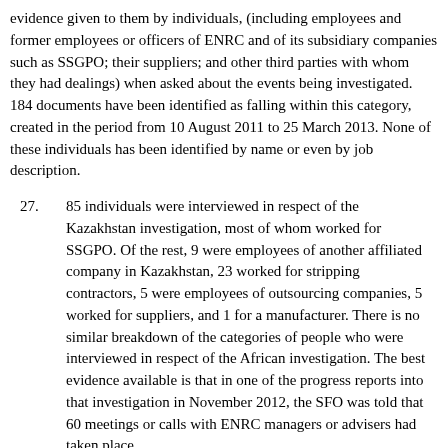evidence given to them by individuals, (including employees and former employees or officers of ENRC and of its subsidiary companies such as SSGPO; their suppliers; and other third parties with whom they had dealings) when asked about the events being investigated. 184 documents have been identified as falling within this category, created in the period from 10 August 2011 to 25 March 2013. None of these individuals has been identified by name or even by job description.
27. 85 individuals were interviewed in respect of the Kazakhstan investigation, most of whom worked for SSGPO. Of the rest, 9 were employees of another affiliated company in Kazakhstan, 23 worked for stripping contractors, 5 were employees of outsourcing companies, 5 worked for suppliers, and 1 for a manufacturer. There is no similar breakdown of the categories of people who were interviewed in respect of the African investigation. The best evidence available is that in one of the progress reports into that investigation in November 2012, the SFO was told that 60 meetings or calls with ENRC managers or advisers had taken place.
28. ENRC claims that all these documents are subject to litigation privilege, alternatively legal advice privilege. Its